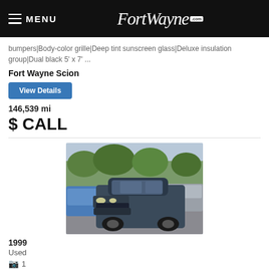MENU | FortWayne.com
bumpers|Body-color grille|Deep tint sunscreen glass|Deluxe insulation group|Dual black 5' x 7' ...
Fort Wayne Scion
View Details
146,539 mi
$ CALL
[Figure (photo): 1999 Honda Accord Sdn dark blue/grey sedan parked in a car lot with trees in background]
1999
Used
1
Honda Accord Sdn